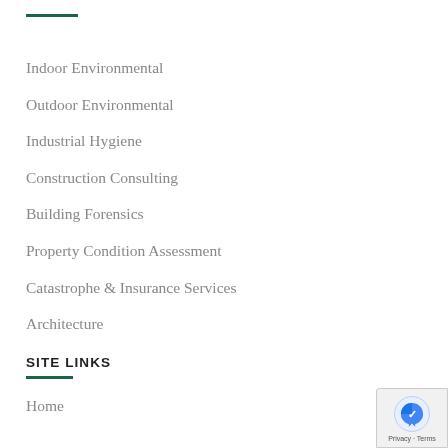Indoor Environmental
Outdoor Environmental
Industrial Hygiene
Construction Consulting
Building Forensics
Property Condition Assessment
Catastrophe & Insurance Services
Architecture
SITE LINKS
Home